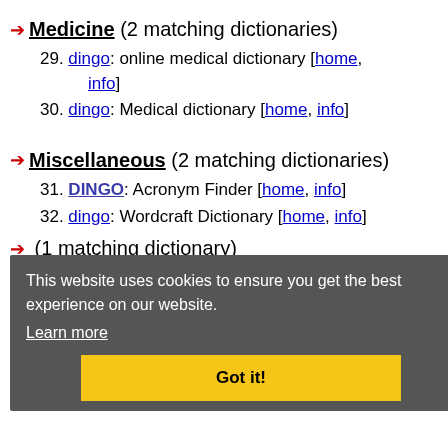Medicine (2 matching dictionaries)
29. dingo: online medical dictionary [home, info]
30. dingo: Medical dictionary [home, info]
Miscellaneous (2 matching dictionaries)
31. DINGO: Acronym Finder [home, info]
32. dingo: Wordcraft Dictionary [home, info]
Archaeology (1 matching dictionary)
33. dingo: Archaeology Wordsmith [home, info]
Slang (1 matching dictionary)
This website uses cookies to ensure you get the best experience on our website. Learn more | Got it!